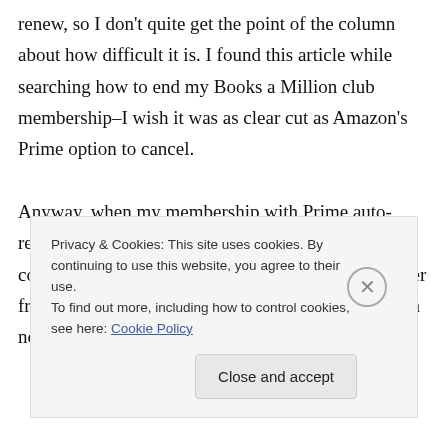renew, so I don't quite get the point of the column about how difficult it is. I found this article while searching how to end my Books a Million club membership–I wish it was as clear cut as Amazon's Prime option to cancel.

Anyway, when my membership with Prime auto-renewed a few years ago and I didn't expect it, I contacted them, upset because it caused another order from somewhere else to create an overdraft. Amazon not only refunded my money–
Privacy & Cookies: This site uses cookies. By continuing to use this website, you agree to their use.
To find out more, including how to control cookies, see here: Cookie Policy